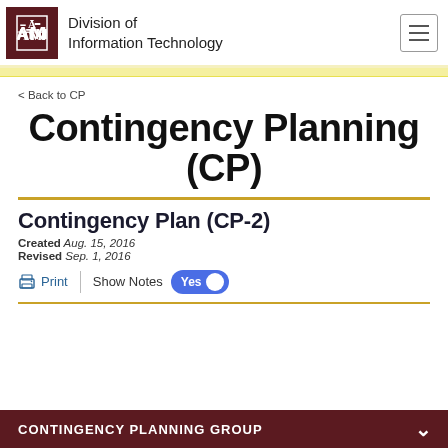Division of Information Technology
< Back to CP
Contingency Planning (CP)
Contingency Plan (CP-2)
Created Aug. 15, 2016
Revised Sep. 1, 2016
Print | Show Notes Yes
CONTINGENCY PLANNING GROUP